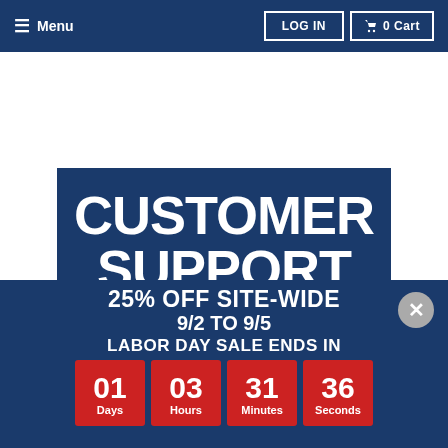Menu | LOG IN | 0 Cart
[Figure (screenshot): Website screenshot showing a retail site navigation bar with Menu, LOG IN, and 0 Cart buttons on a dark blue background]
CUSTOMER SUPPORT
25% OFF SITE-WIDE
9/2 TO 9/5
LABOR DAY SALE ENDS IN
01 Days  03 Hours  31 Minutes  36 Seconds